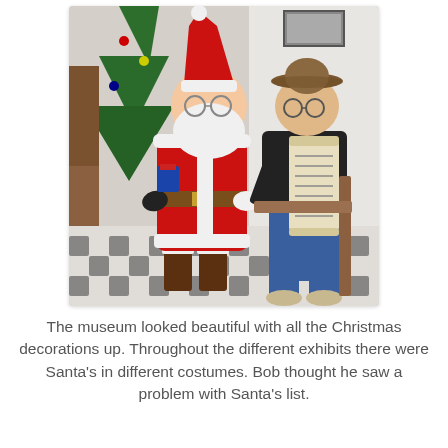[Figure (photo): A man in a brown fedora hat and black leather jacket sits beside a life-size Santa Claus figure dressed in a red suit with white trim and brown boots, next to a Christmas tree. The man holds and examines a long scroll list. The floor has a black and white patterned tile.]
The museum looked beautiful with all the Christmas decorations up. Throughout the different exhibits there were Santa's in different costumes. Bob thought he saw a problem with Santa's list.